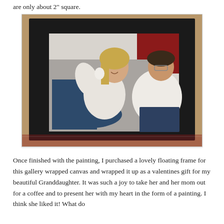are only about 2" square.
[Figure (photo): A framed painting showing two women laughing together on a couch. The painting is in a black floating frame placed on a surface with a patterned cloth. Both women wear white sweaters; one has long blonde hair, the other has short dark hair and glasses.]
Once finished with the painting, I purchased a lovely floating frame for this gallery wrapped canvas and wrapped it up as a valentines gift for my beautiful Granddaughter. It was such a joy to take her and her mom out for a coffee and to present her with my heart in the form of a painting. I think she liked it! What do